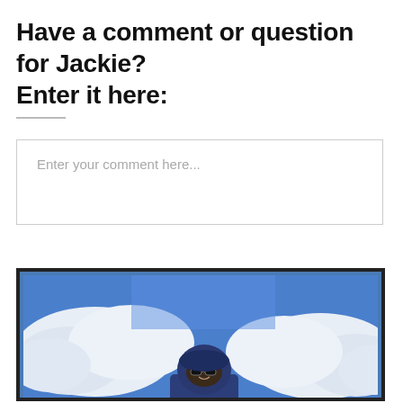Have a comment or question for Jackie? Enter it here:
Enter your comment here...
[Figure (photo): Person wearing a dark blue hooded jacket and sunglasses standing outdoors against a bright blue sky with large white clouds behind them.]